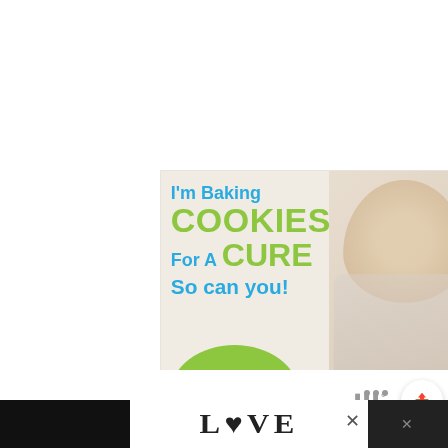[Figure (advertisement): Cookies for Kids' Cancer advertisement featuring a smiling blonde girl holding a plate of cookies. Text reads: I'm Baking COOKIES For A CURE So can you! Green circle logo with 'cookies for kids' cancer'. Teal banner: Haldora, 11 Cancer Survivor. X close button top right.]
[Figure (infographic): Screenshot UI elements at bottom: share button icon, triple-dot menu icon, and partial LOVE text logo in black and white decorative font. X close button and another triple-dot icon visible.]